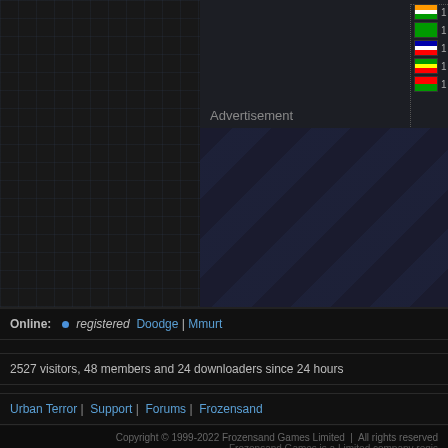[Figure (screenshot): Grid of country flags with count '1' next to each, arranged in 3 columns inside a dotted border box]
Advertisement
[Figure (other): Advertisement placeholder with dark diagonal stripe pattern]
Online: • registered Doodge | Mmurt
2527 visitors, 48 members and 24 downloaders since 24 hours
Urban Terror | Support | Forums | Frozensand
Copyright © 1999-2022 Frozensand Games Limited  |  All rights reserved
Frozensand Games is a Limited company regis